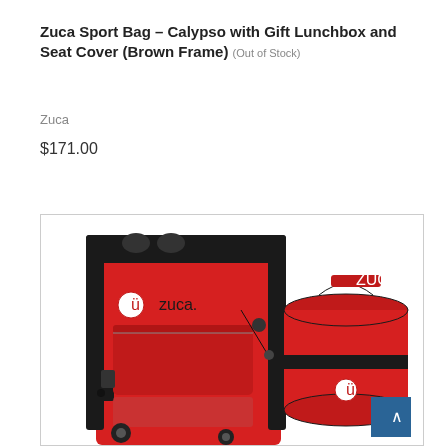Zuca Sport Bag – Calypso with Gift Lunchbox and Seat Cover (Brown Frame) (Out of Stock)
Zuca
$171.00
[Figure (photo): Photo of a red Zuca sport bag with black frame on the left, and a red round Zuca lunchbox/cooler bag on the right. The sport bag shows the Zuca logo and has black wheels visible at the bottom.]